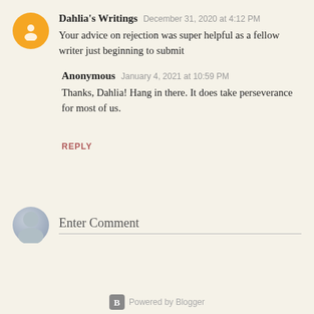Dahlia's Writings  December 31, 2020 at 4:12 PM
Your advice on rejection was super helpful as a fellow writer just beginning to submit
Anonymous  January 4, 2021 at 10:59 PM
Thanks, Dahlia! Hang in there. It does take perseverance for most of us.
REPLY
Enter Comment
Powered by Blogger